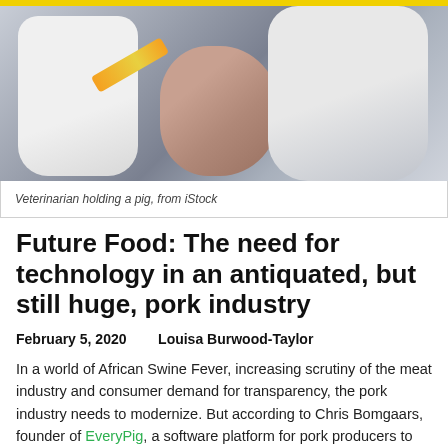[Figure (photo): A veterinarian in white gloves holding a pig, with a yellow syringe visible. The image shows hands in medical gloves and a pig close-up.]
Veterinarian holding a pig, from iStock
Future Food: The need for technology in an antiquated, but still huge, pork industry
February 5, 2020    Louisa Burwood-Taylor
In a world of African Swine Fever, increasing scrutiny of the meat industry and consumer demand for transparency, the pork industry needs to modernize. But according to Chris Bomgaars, founder of EveryPig, a software platform for pork producers to